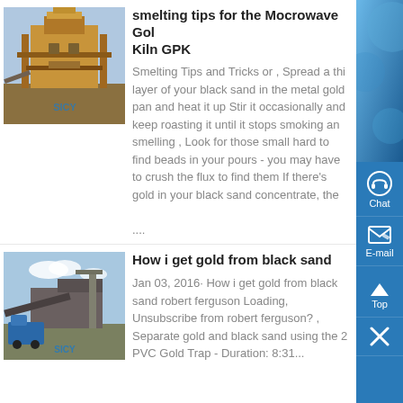[Figure (photo): Industrial gold mining/processing equipment - large yellow mechanical structure]
smelting tips for the Mocrowave Gold Kiln GPK
Smelting Tips and Tricks or , Spread a thin layer of your black sand in the metal gold pan and heat it up Stir it occasionally and keep roasting it until it stops smoking and smelling , Look for those small hard to find beads in your pours - you may have to crush the flux to find them If there's gold in your black sand concentrate, the ....
[Figure (photo): Mining/processing site with machinery, trucks, conveyor equipment under blue sky]
How i get gold from black sand
Jan 03, 2016· How i get gold from black sand robert ferguson Loading, Unsubscribe from robert ferguson? , Separate gold and black sand using the 2 PVC Gold Trap - Duration: 8:31...